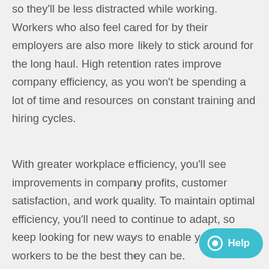so they'll be less distracted while working. Workers who also feel cared for by their employers are also more likely to stick around for the long haul. High retention rates improve company efficiency, as you won't be spending a lot of time and resources on constant training and hiring cycles.
With greater workplace efficiency, you'll see improvements in company profits, customer satisfaction, and work quality. To maintain optimal efficiency, you'll need to continue to adapt, so keep looking for new ways to enable your workers to be the best they can be.